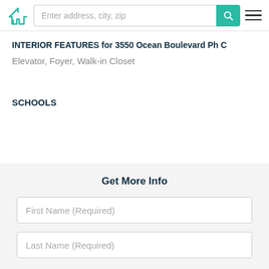Enter address, city, zip
INTERIOR FEATURES for 3550 Ocean Boulevard Ph C
Elevator, Foyer, Walk-in Closet
SCHOOLS
Get More Info
First Name (Required)
Last Name (Required)